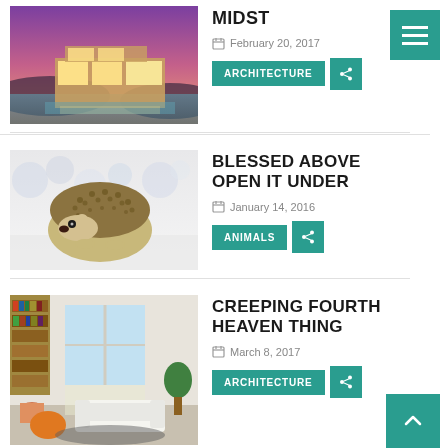[Figure (photo): Modern glass house with pool at dusk, warm interior lighting]
MIDST
February 20, 2017
ARCHITECTURE
[Figure (photo): White hedgehog on a light surface]
BLESSED ABOVE OPEN IT UNDER
January 14, 2016
ANIMALS
[Figure (photo): Modern living room interior with bookshelves, sofa, and plants]
CREEPING FOURTH HEAVEN THING
March 8, 2017
ARCHITECTURE